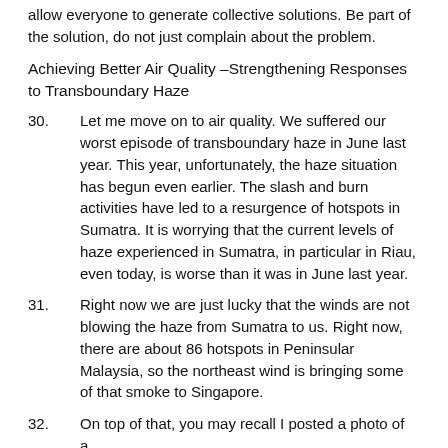allow everyone to generate collective solutions. Be part of the solution, do not just complain about the problem.
Achieving Better Air Quality –Strengthening Responses to Transboundary Haze
30.      Let me move on to air quality. We suffered our worst episode of transboundary haze in June last year. This year, unfortunately, the haze situation has begun even earlier. The slash and burn activities have led to a resurgence of hotspots in Sumatra. It is worrying that the current levels of haze experienced in Sumatra, in particular in Riau, even today, is worse than it was in June last year.
31.      Right now we are just lucky that the winds are not blowing the haze from Sumatra to us. Right now, there are about 86 hotspots in Peninsular Malaysia, so the northeast wind is bringing some of that smoke to Singapore.
32.      On top of that, you may recall I posted a photo of a